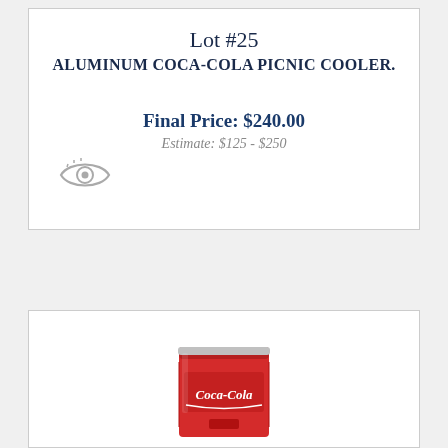Lot #25
ALUMINUM COCA-COLA PICNIC COOLER.
Final Price: $240.00
Estimate: $125 - $250
[Figure (illustration): Eye/view icon in gray]
[Figure (photo): Red Coca-Cola branded cooler/vending machine miniature]